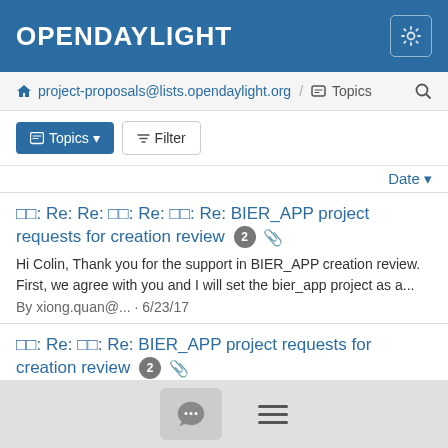OPENDAYLIGHT
project-proposals@lists.opendaylight.org / Topics
Topics ▼   Filter
Date ▼
□□: Re: Re: □□: Re: □□: Re: BIER_APP project requests for creation review [2] 📎
Hi Colin, Thank you for the support in BIER_APP creation review. First, we agree with you and I will set the bier_app project as a...
By xiong.quan@... · 6/23/17
□□: Re: □□: Re: BIER_APP project requests for creation review [2] 📎
The meeting should be at 2000 UTC...